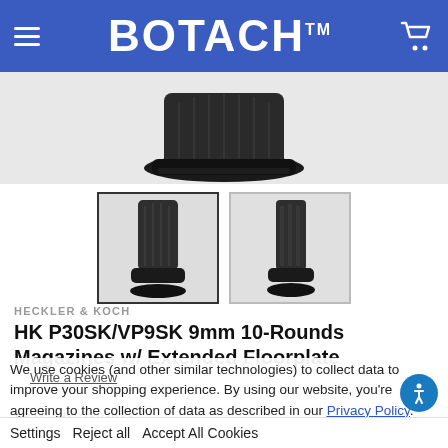BOTACH™
[Figure (photo): Close-up of bottom of a black pistol magazine with extended floorplate, showing textured rubber base on white/grey background]
[Figure (photo): Thumbnail 1: Black pistol magazine with extended floorplate, front view]
[Figure (photo): Thumbnail 2: Black pistol magazine with extended floorplate, side view]
HECKLER & KOCH
HK P30SK/VP9SK 9mm 10-Rounds Magazines w/ Extended Floorplate
We use cookies (and other similar technologies) to collect data to improve your shopping experience. By using our website, you're agreeing to the collection of data as described in our Privacy Policy.
Write a Review
SKU:  HK-239363S
UPC:  642230255753
MPN:  239363S
Settings   Reject all   Accept All Cookies